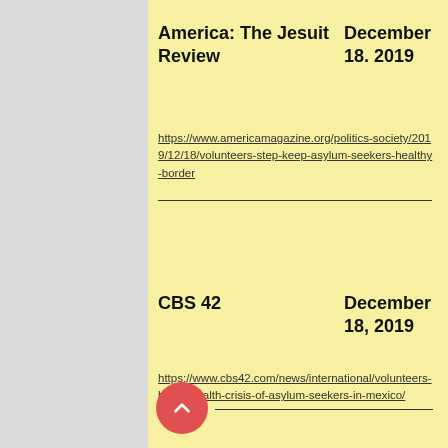America: The Jesuit Review
December 18. 2019
https://www.americamagazine.org/politics-society/2019/12/18/volunteers-step-keep-asylum-seekers-healthy-border
CBS 42
December 18, 2019
https://www.cbs42.com/news/international/volunteers-battle-health-crisis-of-asylum-seekers-in-mexico/